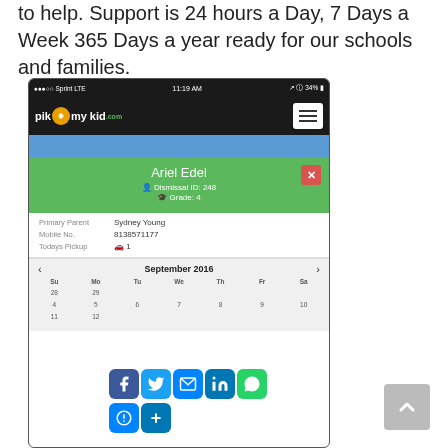to help. Support is 24 hours a Day, 7 Days a Week 365 Days a year ready for our schools and families.
[Figure (screenshot): Screenshot of PikMyKid mobile app showing student Ariel Edel with Dismissal ID: 248, Grade: 4, Primary Parent Sydney Young, Mobile No. 8138571177, Todays Pickup car icon with 1, and a September 2016 calendar with social sharing icons overlay (Facebook, Twitter, Email, LinkedIn, WhatsApp, Messenger, plus)]